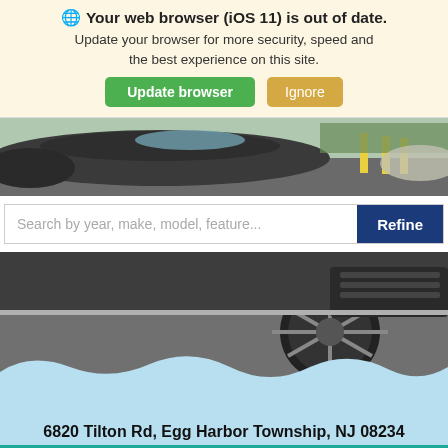Your web browser (iOS 11) is out of date. Update your browser for more security, speed and the best experience on this site.
Update browser | Ignore
[Figure (photo): Top portion of a dark gray car in a dealership lot with yellow poles visible in background]
Search by year, make, model, feature... | Refine
[Figure (photo): Close-up of front wheel and bumper area of a dark gray car on pavement, with light blue wavy graphic overlay at bottom]
6820 Tilton Rd, Egg Harbor Township, NJ 08234
360° WalkAround
Exterior: Platinum Gray Metallic
Interior: Black
Value Your Trade